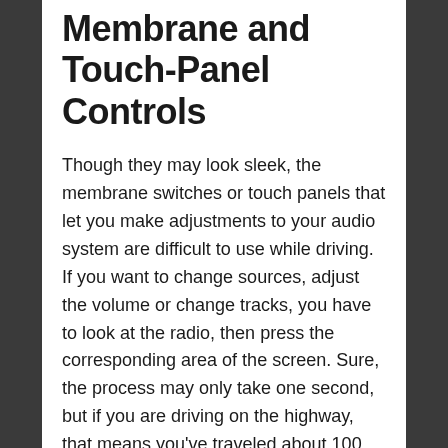Membrane and Touch-Panel Controls
Though they may look sleek, the membrane switches or touch panels that let you make adjustments to your audio system are difficult to use while driving. If you want to change sources, adjust the volume or change tracks, you have to look at the radio, then press the corresponding area of the screen. Sure, the process may only take one second, but if you are driving on the highway, that means you've traveled about 100 feet. A lot can happen in that time.